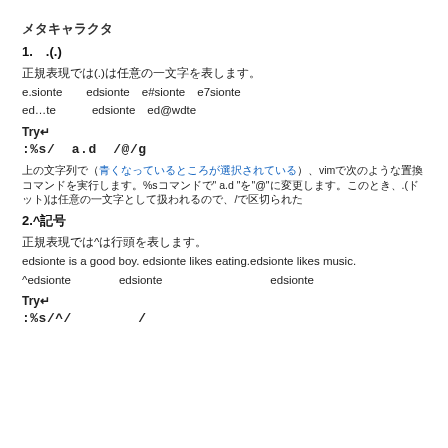メタキャラクタ
1.　.(.)
正規表現では(.)は任意の一文字を表します。
e.sionte　　edsionte e#sionte e7sionte
ed…te　　　edsionte ed@wdte
Try↵
:%s/  a.d  /@/g
上の文字列で（青くなっているところが選択されている）、vimで次のような置換コマンドを実行します。%sコマンドで" a.d "を"@"に変更します。このとき、.(ドット)は任意の一文字として扱われるので、/で区切られた
2.^記号
正規表現では^は行頭を表します。
edsionte is a good boy. edsionte likes eating.edsionte likes music.
^edsionte　　　edsionte　　　　　　　　edsionte
Try↵
:%s/^/        /